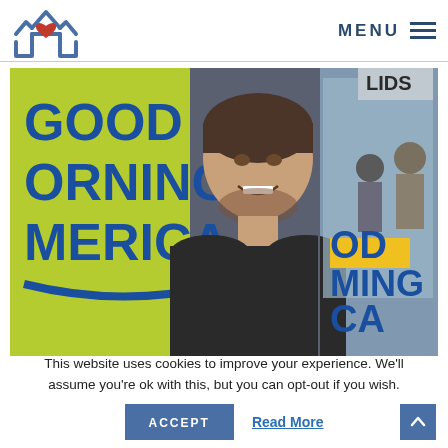Logo and MENU navigation header
[Figure (photo): A young man with short dark hair and a beard smiling, sitting in front of a 'Good Morning America' TV show backdrop with a green/yellow GMA logo visible. Background shows a window with crowds outside.]
This website uses cookies to improve your experience. We'll assume you're ok with this, but you can opt-out if you wish.
ACCEPT
Read More